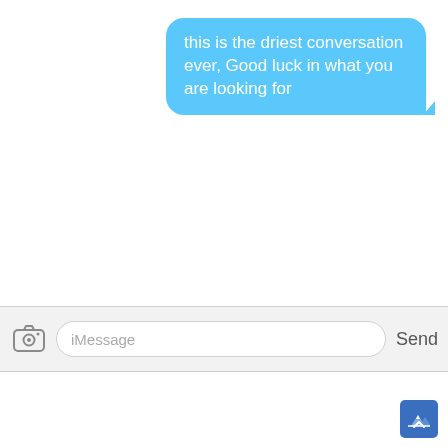[Figure (screenshot): iOS iMessage screenshot showing a sent blue message bubble with text 'this is the driest conversation ever, Good luck in what you are looking for', with an iMessage input bar below containing a camera icon, iMessage placeholder text, and a Send button.]